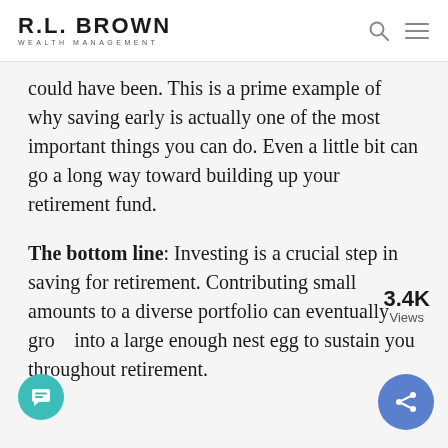R.L. BROWN WEALTH MANAGEMENT
could have been. This is a prime example of why saving early is actually one of the most important things you can do. Even a little bit can go a long way toward building up your retirement fund.
The bottom line: Investing is a crucial step in saving for retirement. Contributing small amounts to a diverse portfolio can eventually grow into a large enough nest egg to sustain you throughout retirement.